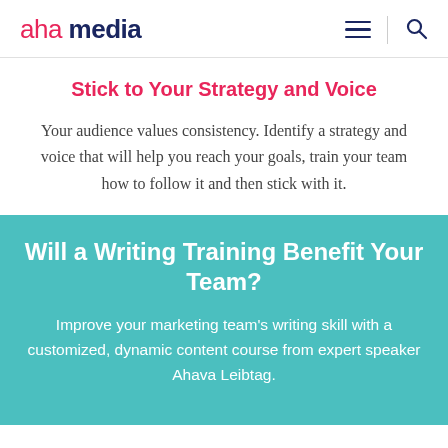aha media
Stick to Your Strategy and Voice
Your audience values consistency. Identify a strategy and voice that will help you reach your goals, train your team how to follow it and then stick with it.
Will a Writing Training Benefit Your Team?
Improve your marketing team's writing skill with a customized, dynamic content course from expert speaker Ahava Leibtag.